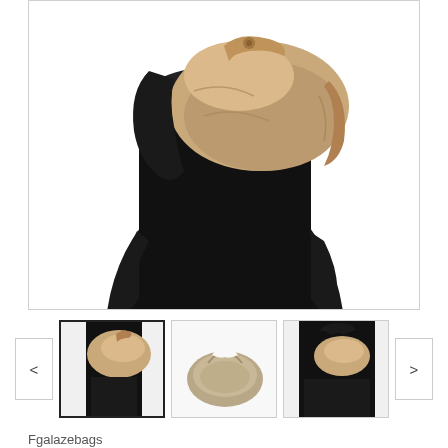[Figure (photo): Woman wearing a beige/tan genuine leather hobo bag over a black outfit. The bag is large, soft, and crescent-shaped. Shown from the shoulders down.]
[Figure (photo): Thumbnail 1: Same model wearing the beige hobo bag, selected state (highlighted border).]
[Figure (photo): Thumbnail 2: The beige leather hobo bag alone on white background, showing the bag's crescent silhouette.]
[Figure (photo): Thumbnail 3: Model wearing the beige hobo bag with a black outfit, seen from a different angle.]
Fgalazebags
Genuine Leather Hobo Bag,